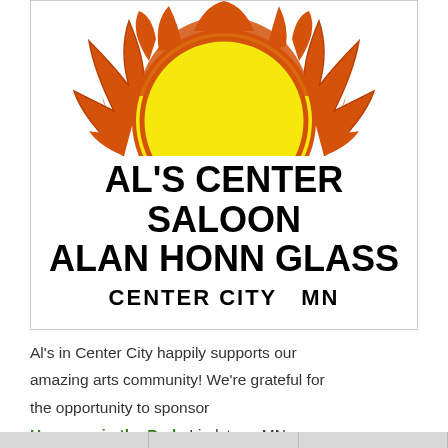[Figure (logo): Sun logo with orange rays and yellow circle center, cartoon style]
AL'S CENTER SALOON
ALAN HONN GLASS
CENTER CITY  MN
Al's in Center City happily supports our amazing arts community! We're grateful for the opportunity to sponsor Harmony in the Park, Lindstrom MN Franconia Sculpture Park, Shafer MN Take Me to the River, along the St. Croix Valley